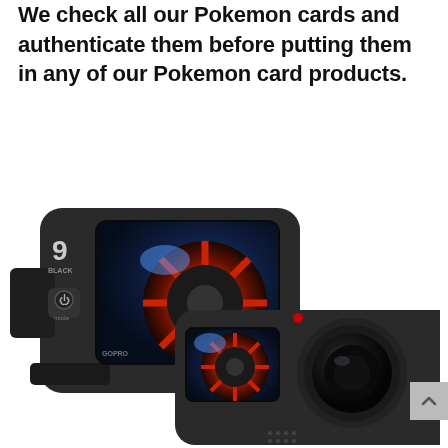We check all our Pokemon cards and authenticate them before putting them in any of our Pokemon card products.
[Figure (photo): GoPro Hero 9 Black action camera shown from rear angle, displaying an image of a red-wheeled car/wheel on its back screen. Camera body is dark grey/black.]
[Figure (photo): GoPro Hero 9 Black action camera shown from front angle, displaying an image of a red-wheeled car on its front screen. Large circular lens visible on right side. Red LED indicator dot on top. Camera body is dark grey/black.]